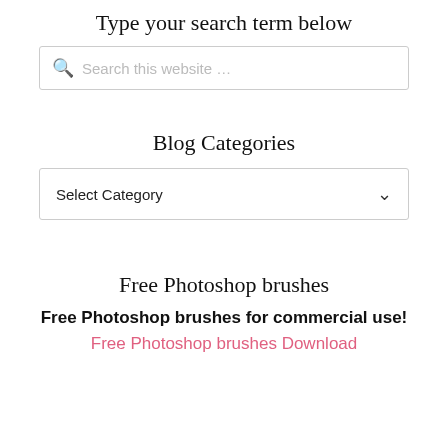Type your search term below
[Figure (screenshot): Search input box with magnifying glass icon and placeholder text 'Search this website …']
Blog Categories
[Figure (screenshot): Dropdown select box with text 'Select Category' and a down-arrow chevron]
Free Photoshop brushes
Free Photoshop brushes for commercial use!
Free Photoshop brushes Download